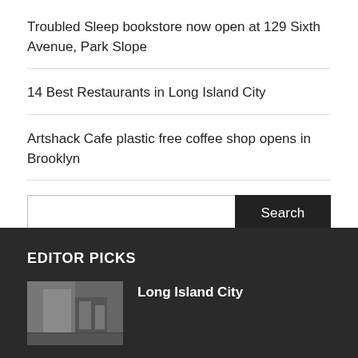Troubled Sleep bookstore now open at 129 Sixth Avenue, Park Slope
14 Best Restaurants in Long Island City
Artshack Cafe plastic free coffee shop opens in Brooklyn
Search
EDITOR PICKS
Long Island City